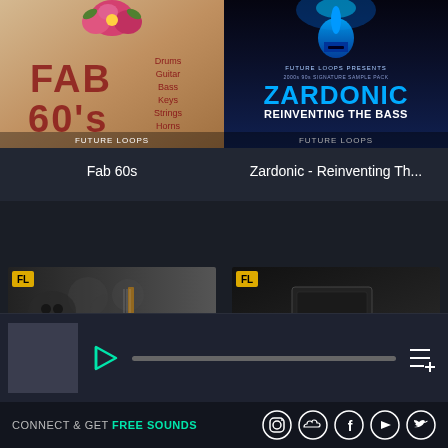[Figure (illustration): Fab 60s album art - vintage style with floral elements and text listing Drums, Guitar, Bass, Keys, Strings, Horns. Future Loops branding.]
Fab 60s
[Figure (illustration): Zardonic - Reinventing The Bass album art. Dark blue/black with neon blue Spartan helmet graphic. Future Loops Presents banner. Text: Zardonic Reinventing The Bass]
Zardonic - Reinventing Th...
[Figure (illustration): Future Loops Presents album art - dark metallic with skull and guitar imagery]
[Figure (illustration): Future Loops Presents EPIC album art - dark with equipment imagery]
[Figure (screenshot): Music player bar with play button, progress bar, and playlist icon. Gray thumbnail placeholder on left.]
CONNECT & GET FREE SOUNDS